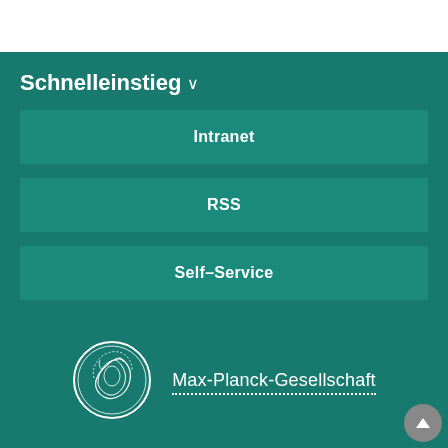Schnelleinstieg ∨
Intranet
RSS
Self-Service
[Figure (logo): Max-Planck-Gesellschaft circular coin logo with woman profile]
Max-Planck-Gesellschaft
Impressum
Datenschutzhinweis
© 2022, MPI für Polymerforschung